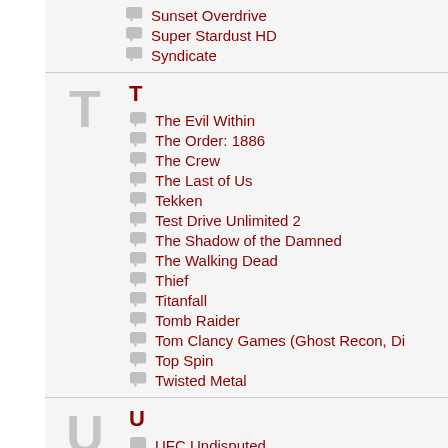Sunset Overdrive
Super Stardust HD
Syndicate
T
The Evil Within
The Order: 1886
The Crew
The Last of Us
Tekken
Test Drive Unlimited 2
The Shadow of the Damned
The Walking Dead
Thief
Titanfall
Tomb Raider
Tom Clancy Games (Ghost Recon, Di
Top Spin
Twisted Metal
U
UFC Undisputed
Uncharted Series
Unreal Tournament
Until Dawn
V
Valkyria Chronicles
Vanquish
W
Warhammer 40,000: Space Marine